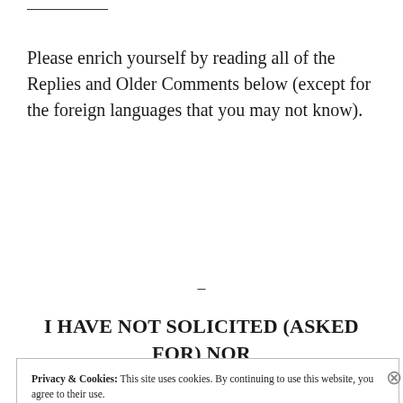Please enrich yourself by reading all of the Replies and Older Comments below (except for the foreign languages that you may not know).
–
I HAVE NOT SOLICITED (ASKED FOR) NOR ENDORSED ANY ADVERTISEMENTS,
Privacy & Cookies: This site uses cookies. By continuing to use this website, you agree to their use.
To find out more, including how to control cookies, see here: Cookie Policy
Close and accept